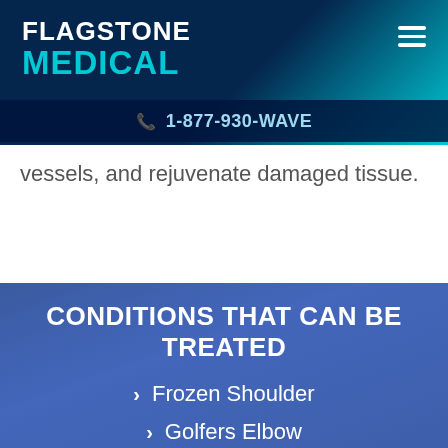FLAGSTONE MEDICAL
1-877-930-WAVE
vessels, and rejuvenate damaged tissue.
CONDITIONS THAT CAN BE TREATED
Frozen Shoulder
Golfers Elbow
Achilles Tendonitis